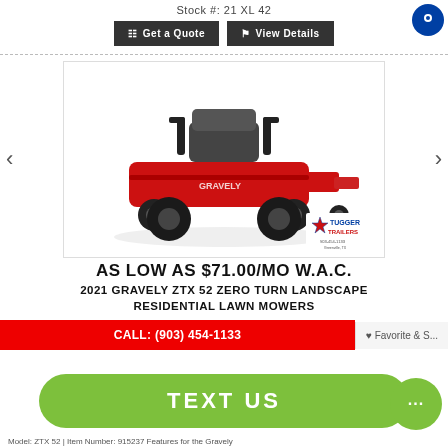Stock #: 21 XL 42
Get a Quote  |  View Details
[Figure (photo): Red Gravely ZTX 52 zero-turn lawn mower with Tugger Trailers logo badge in lower right corner]
AS LOW AS $71.00/MO W.A.C.
2021 GRAVELY ZTX 52 ZERO TURN LANDSCAPE RESIDENTIAL LAWN MOWERS
CALL: (903) 454-1133
TEXT US
Model: ZTX 52 | Item Number: 915237 Features for the Gravely